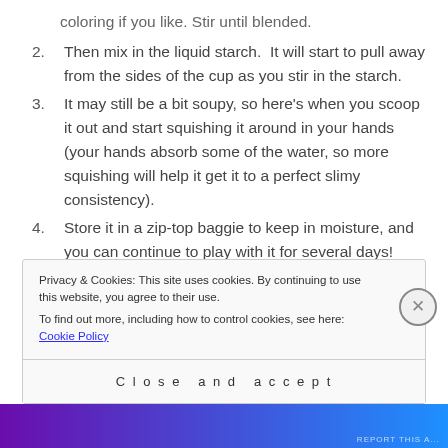coloring if you like. Stir until blended.
Then mix in the liquid starch. It will start to pull away from the sides of the cup as you stir in the starch.
It may still be a bit soupy, so here's when you scoop it out and start squishing it around in your hands (your hands absorb some of the water, so more squishing will help it get it to a perfect slimy consistency).
Store it in a zip-top baggie to keep in moisture, and you can continue to play with it for several days!
Privacy & Cookies: This site uses cookies. By continuing to use this website, you agree to their use.
To find out more, including how to control cookies, see here: Cookie Policy
Close and accept